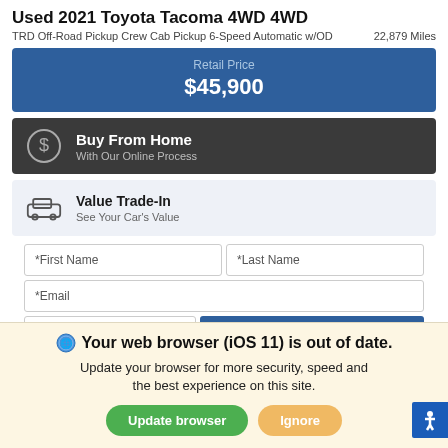Used 2021 Toyota Tacoma 4WD 4WD
TRD Off-Road Pickup Crew Cab Pickup 6-Speed Automatic w/OD    22,879 Miles
Retail Price
$45,900
Buy From Home
With Our Online Process
Value Trade-In
See Your Car's Value
*First Name   *Last Name   *Email   Phone   Submit
Your web browser (iOS 11) is out of date. Update your browser for more security, speed and the best experience on this site.